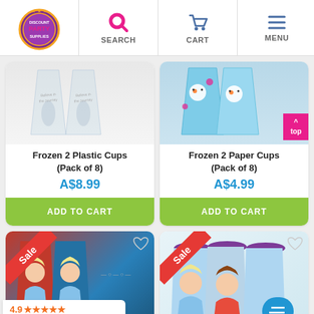Discount Party Supplies | SEARCH | CART | MENU
[Figure (photo): Two clear Frozen 2 plastic cups with 'Believe in the Journey' text]
Frozen 2 Plastic Cups (Pack of 8)
A$8.99
ADD TO CART
[Figure (photo): Two light blue Frozen 2 paper cups featuring Olaf snowman character]
Frozen 2 Paper Cups (Pack of 8)
A$4.99
ADD TO CART
[Figure (photo): Sale - Frozen 2 plastic cups with Elsa character, red and blue cups]
[Figure (photo): Sale - Frozen character cups with purple lids featuring Elsa and Anna]
4.9 ★★★★★
Google
Customer Reviews